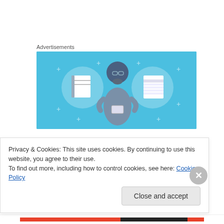Advertisements
[Figure (illustration): Blue banner advertisement showing a illustrated person holding a phone with two notebooks/documents on either side, on a light blue background with decorative plus signs.]
He shreds paper to calm himself, to distract himself from pain, to avoid having to interact with anyone, and because he likes to make it snow by throwing paper everywhere.
Privacy & Cookies: This site uses cookies. By continuing to use this website, you agree to their use.
To find out more, including how to control cookies, see here: Cookie Policy
Close and accept